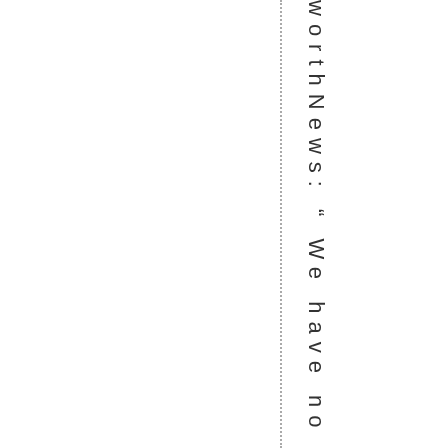worthNews: "We have no plans to clos